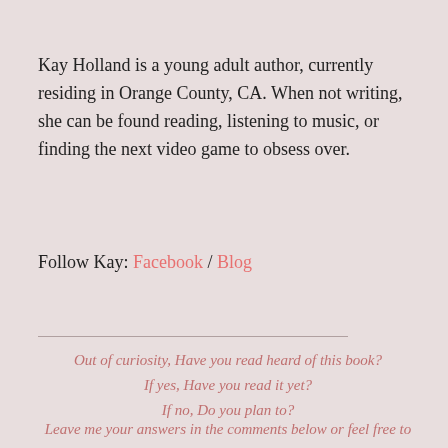Kay Holland is a young adult author, currently residing in Orange County, CA. When not writing, she can be found reading, listening to music, or finding the next video game to obsess over.
Follow Kay: Facebook / Blog
Out of curiosity, Have you read heard of this book? If yes, Have you read it yet? If no, Do you plan to?
Leave me your answers in the comments below or feel free to